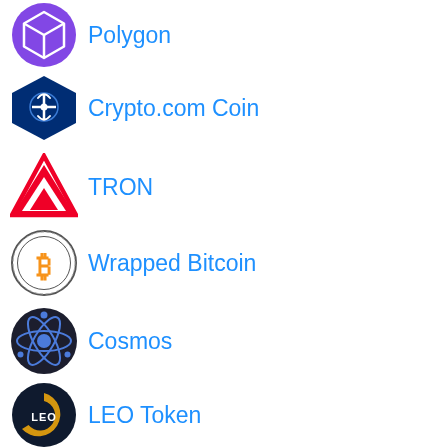Polygon
Crypto.com Coin
TRON
Wrapped Bitcoin
Cosmos
LEO Token
Ethereum Classic
OKB
Litecoin
FTX
Near
Cosmos Hub